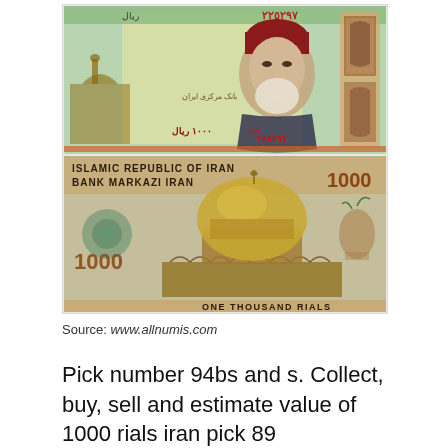[Figure (photo): Photo of both sides of a 1000 Rials Iranian banknote. Front side shows Ayatollah Khomeini portrait with Persian text and serial number 245297. Back side shows the Dome of the Rock (Al-Aqsa Mosque) with text 'ISLAMIC REPUBLIC OF IRAN / BANK MARKAZI IRAN' and '1000' and 'ONE THOUSAND RIALS'.]
Source: www.allnumis.com
Pick number 94bs and s. Collect, buy, sell and estimate value of 1000 rials iran pick 89